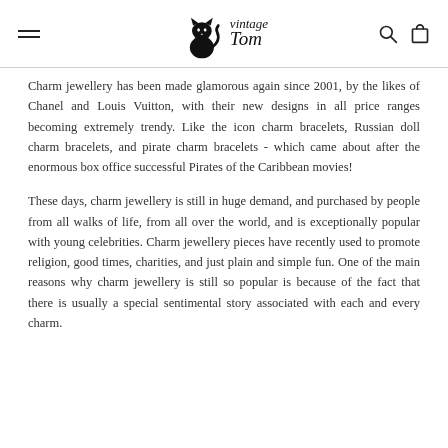Vintage Tom
Charm jewellery has been made glamorous again since 2001, by the likes of Chanel and Louis Vuitton, with their new designs in all price ranges becoming extremely trendy. Like the icon charm bracelets, Russian doll charm bracelets, and pirate charm bracelets - which came about after the enormous box office successful Pirates of the Caribbean movies!
These days, charm jewellery is still in huge demand, and purchased by people from all walks of life, from all over the world, and is exceptionally popular with young celebrities. Charm jewellery pieces have recently used to promote religion, good times, charities, and just plain and simple fun. One of the main reasons why charm jewellery is still so popular is because of the fact that there is usually a special sentimental story associated with each and every charm.